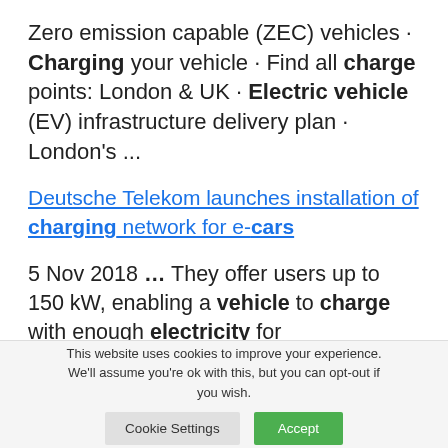Zero emission capable (ZEC) vehicles · Charging your vehicle · Find all charge points: London & UK · Electric vehicle (EV) infrastructure delivery plan · London's ...
Deutsche Telekom launches installation of charging network for e-cars
5 Nov 2018 ... They offer users up to 150 kW, enabling a vehicle to charge with enough electricity for
This website uses cookies to improve your experience. We'll assume you're ok with this, but you can opt-out if you wish.